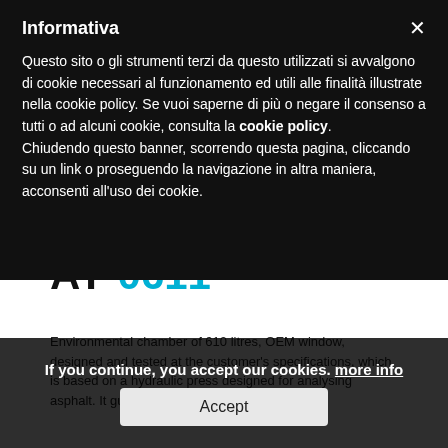[Figure (illustration): Technical line drawing of an environmental chamber on wheels, isometric view, showing a large rectangular cabinet with panels and caster wheels, with support legs/ramps extending at the base.]
AT 0611
Environmental chamber of 610 litres, OEM window, designed and tested at the customer's specifications, which is based on a hydraulic press designed for analysing asphalt. It guarantees controlled
Informativa
Questo sito o gli strumenti terzi da questo utilizzati si avvalgono di cookie necessari al funzionamento ed utili alle finalità illustrate nella cookie policy. Se vuoi saperne di più o negare il consenso a tutti o ad alcuni cookie, consulta la cookie policy.
Chiudendo questo banner, scorrendo questa pagina, cliccando su un link o proseguendo la navigazione in altra maniera, acconsenti all'uso dei cookie.
If you continue, you accept our cookies. more info
Accept